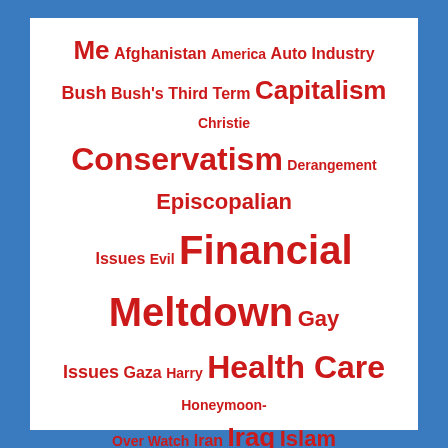[Figure (infographic): Tag cloud with red words on white background, bordered by blue. Topics include Me, Afghanistan, America, Auto Industry, Bush, Bush's Third Term, Capitalism, Christie, Conservatism, Derangement, Episcopalian, Issues, Evil, Financial Meltdown, Gay Issues, Gaza, Harry, Health Care, Honeymoon-Over Watch, Iran, Iraq, Islam, Islamic Fascism, Israel, Krauthammer, KSM, Maplewood, McCain, Military, MSM, Muslim Heroes, New Jersey, Obama, Obama Silver-Lining Watch, Obamessiah, Palin, Princeton, Racial Issues, Romney, Social Media, St. George's, Stimulus, Wall Street, Web Goddess]